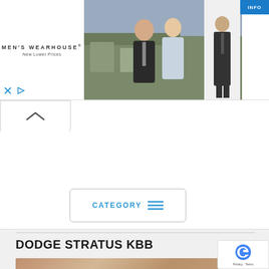[Figure (screenshot): Men's Wearhouse advertisement banner showing a couple in formal wear and a man in a suit with a blue INFO button]
[Figure (screenshot): Collapse/minimize button with upward chevron arrow]
CATEGORY
DODGE STRATUS KBB
[Figure (photo): Tan/beige colored image strip at the bottom of the page]